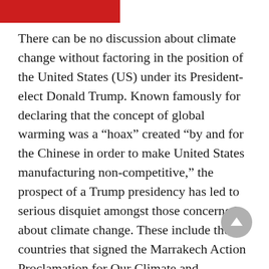There can be no discussion about climate change without factoring in the position of the United States (US) under its President-elect Donald Trump. Known famously for declaring that the concept of global warming was a “hoax” created “by and for the Chinese in order to make United States manufacturing non-competitive,” the prospect of a Trump presidency has led to serious disquiet amongst those concerned about climate change. These include the countries that signed the Marrakech Action Proclamation for Our Climate and Sustainable Development at the 22nd Conference of Parties of the United Nations Framework Convention on Climate Change (UNFCCC) in November. The meeting was held